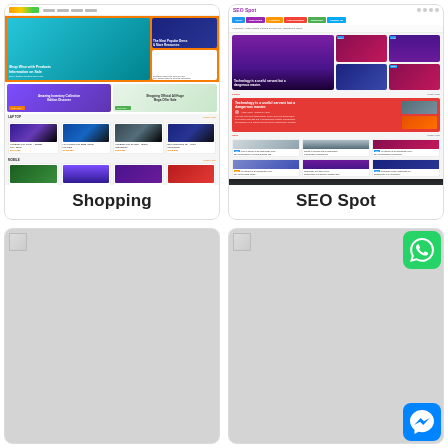[Figure (screenshot): Shopping WordPress theme screenshot showing product listings, hero banners, and navigation]
Shopping
[Figure (screenshot): SEO Spot WordPress theme screenshot showing blog/news layout with featured images and category sections]
SEO Spot
[Figure (screenshot): Bottom left card with partial screenshot (greyed out)]
[Figure (screenshot): Bottom right card with partial screenshot (greyed out) and WhatsApp/Messenger icons]